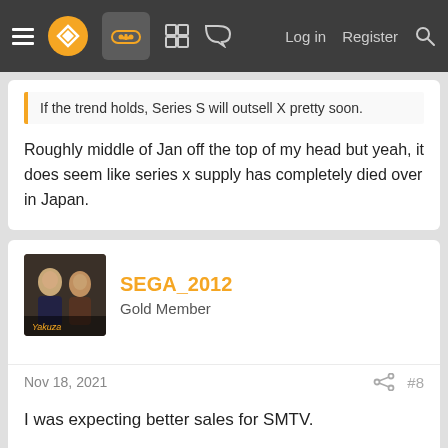Navigation bar with hamburger menu, logo, controller icon, grid icon, chat icon, Log in, Register, Search
If the trend holds, Series S will outsell X pretty soon.
Roughly middle of Jan off the top of my head but yeah, it does seem like series x supply has completely died over in Japan.
SEGA_2012
Gold Member
Nov 18, 2021
#8
I was expecting better sales for SMTV.
blackjon24 and Shaqazolbo
Vagswarm